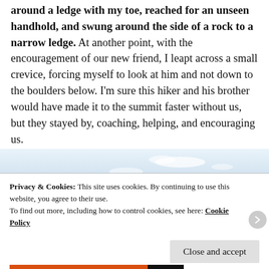around a ledge with my toe, reached for an unseen handhold, and swung around the side of a rock to a narrow ledge. At another point, with the encouragement of our new friend, I leapt across a small crevice, forcing myself to look at him and not down to the boulders below. I'm sure this hiker and his brother would have made it to the summit faster without us, but they stayed by, coaching, helping, and encouraging us.
[Figure (photo): Outdoor photo showing a person (wearing a hat) visible from the waist up against a bright sky with clouds, appearing to be on a mountain or elevated location.]
Privacy & Cookies: This site uses cookies. By continuing to use this website, you agree to their use.
To find out more, including how to control cookies, see here: Cookie Policy
Close and accept